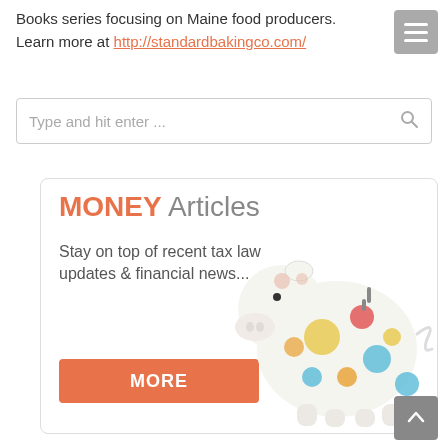Books series focusing on Maine food producers. Learn more at http://standardbakingco.com/
[Figure (screenshot): Search bar with placeholder text 'Type and hit enter ...' and a search icon on the right]
[Figure (infographic): Money Articles advertisement banner with piggy bank image. Text: 'MONEY Articles - Stay on top of recent tax law updates & financial news...' with a MORE button]